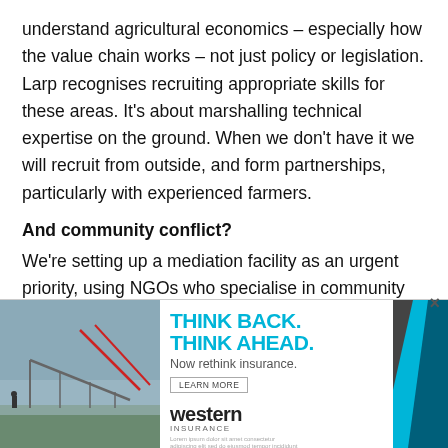understand agricultural economics – especially how the value chain works – not just policy or legislation. Larp recognises recruiting appropriate skills for these areas. It's about marshalling technical expertise on the ground. When we don't have it we will recruit from outside, and form partnerships, particularly with experienced farmers.
And community conflict?
We're setting up a mediation facility as an urgent priority, using NGOs who specialise in community corporate governance. We will appoint caretaker management companies to run farms, while conflicts will be addressed so production is not affected in the interim.
[Figure (advertisement): Advertisement for Western Insurance featuring an image of irrigation equipment in a field, with the text 'THINK BACK. THINK AHEAD. Now rethink insurance.' and a Learn More button, along with the Western insurance logo and decorative diagonal stripes.]